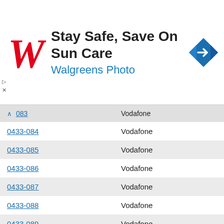[Figure (screenshot): Walgreens advertisement banner: Stay Safe, Save On Sun Care — Walgreens Photo, with Walgreens cursive W logo and a blue navigation icon.]
| Phone prefix | Carrier |
| --- | --- |
| 083 | Vodafone |
| 0433-084 | Vodafone |
| 0433-085 | Vodafone |
| 0433-086 | Vodafone |
| 0433-087 | Vodafone |
| 0433-088 | Vodafone |
| 0433-089 | Vodafone |
| 0433-090 | Vodafone |
| 0433-091 | Vodafone |
| 0433-092 | Vodafone |
| 0433-093 | Vodafone |
| 0433-094 | Vodafone |
| 0433-095 | Vodafone |